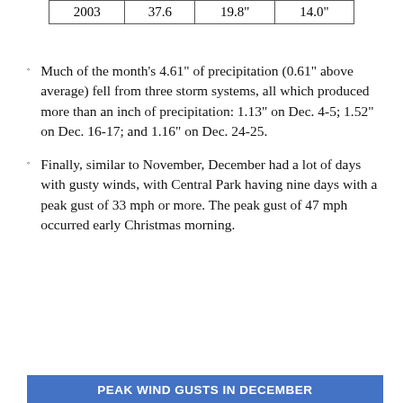| 2003 | 37.6 | 19.8" | 14.0" |
Much of the month's 4.61" of precipitation (0.61" above average) fell from three storm systems, all which produced more than an inch of precipitation:  1.13" on Dec. 4-5; 1.52" on Dec. 16-17; and 1.16" on Dec. 24-25.
Finally, similar to November, December had a lot of days with gusty winds, with Central Park having nine days with a peak gust of 33 mph or more.  The peak gust of 47 mph occurred early Christmas morning.
PEAK WIND GUSTS IN DECEMBER